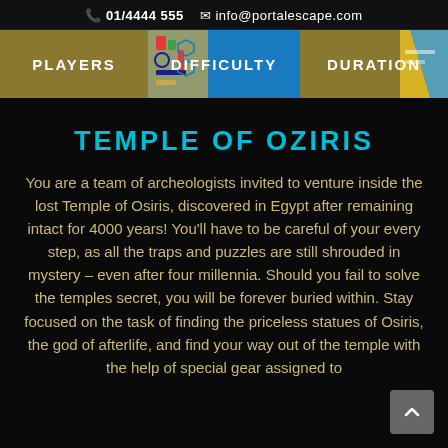01/4444 555  info@portalescape.com
[Figure (other): Navigation bar with three cells: PLAYERS (gold/tan background), DIFFICULTY (blue background with Egyptian hieroglyph image), DURATION (gold/tan background)]
TEMPLE OF OZIRIS
You are a team of archeologists invited to venture inside the lost Temple of Osiris, discovered in Egypt after remaining intact for 4000 years! You'll have to be careful of your every step, as all the traps and puzzles are still shrouded in mystery – even after four millennia. Should you fail to solve the temples secret, you will be forever buried within. Stay focused on the task of finding the priceless statues of Osiris, the god of afterlife, and find your way out of the temple with the help of special gear assigned to